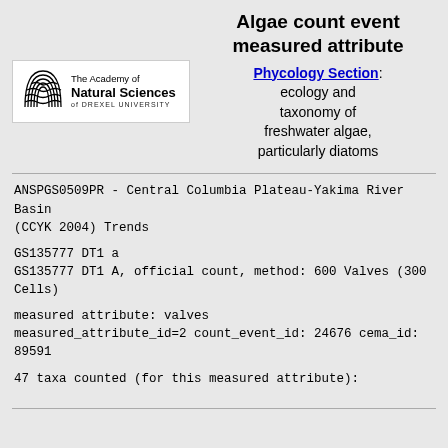Algae count event measured attribute
[Figure (logo): The Academy of Natural Sciences of Drexel University logo with stylized shell/wave emblem]
Phycology Section: ecology and taxonomy of freshwater algae, particularly diatoms
ANSPGS0509PR - Central Columbia Plateau-Yakima River Basin (CCYK 2004) Trends
GS135777 DT1 a
GS135777 DT1 A, official count, method: 600 Valves (300 Cells)
measured attribute: valves
measured_attribute_id=2 count_event_id: 24676 cema_id: 89591
47 taxa counted (for this measured attribute):